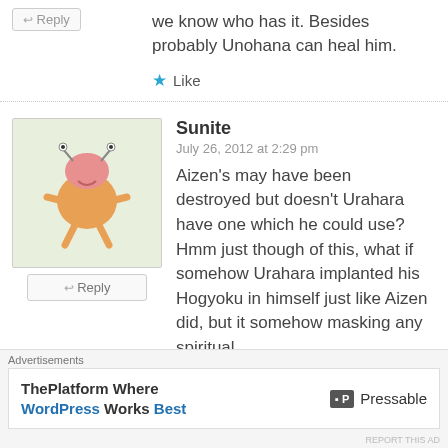we know who has it. Besides probably Unohana can heal him.
Like
Sunite
July 26, 2012 at 2:29 pm
Aizen's may have been destroyed but doesn't Urahara have one which he could use?
Hmm just though of this, what if somehow Urahara implanted his Hogyoku in himself just like Aizen did, but it somehow masking any spiritual
Advertisements
ThePlatform Where WordPress Works Best
[Figure (logo): Pressable logo with P icon]